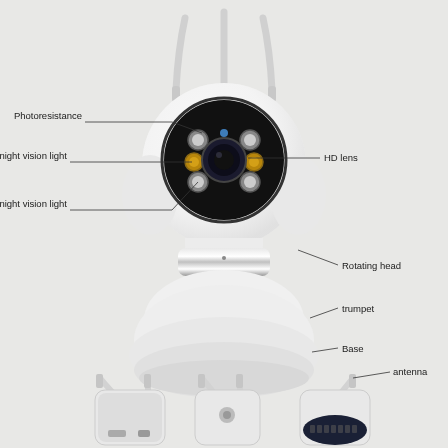[Figure (engineering-diagram): Labeled diagram of a PTZ security camera showing front view (top) and rear/side view (bottom). Labels point to: Photoresistance (top of camera head), Full color night vision light (left side of lens), HD lens (right side, center), Infrared night vision light (middle left of camera body), Rotating head (right middle), trumpet (right lower middle), Base (right lower), and antenna (top right of bottom view showing rear of camera with label plate).]